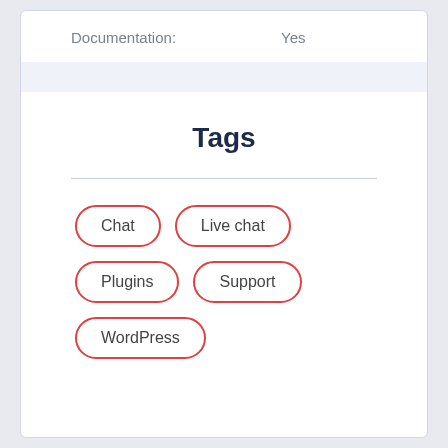Documentation: Yes
Tags
Chat
Live chat
Plugins
Support
WordPress